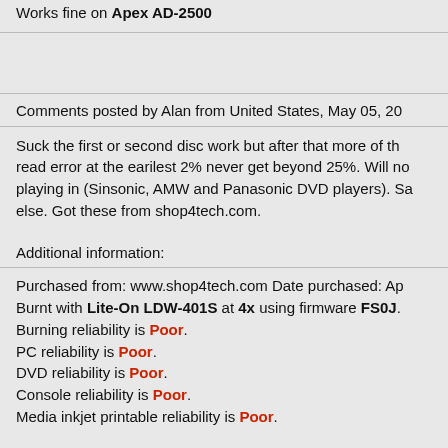Works fine on Apex AD-2500
Comments posted by Alan from United States, May 05, 20...
Suck the first or second disc work but after that more of th... read error at the earilest 2% never get beyond 25%. Will no... playing in (Sinsonic, AMW and Panasonic DVD players). Sa... else. Got these from shop4tech.com.
Additional information:
Purchased from: www.shop4tech.com Date purchased: Ap... Burnt with Lite-On LDW-401S at 4x using firmware FS0J. Burning reliability is Poor. PC reliability is Poor. DVD reliability is Poor. Console reliability is Poor. Media inkjet printable reliability is Poor.